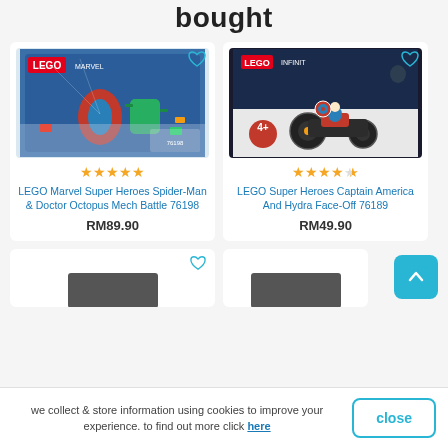bought
[Figure (photo): LEGO Marvel Super Heroes Spider-Man & Doctor Octopus Mech Battle 76198 product box image]
[Figure (photo): LEGO Super Heroes Captain America And Hydra Face-Off 76189 product box image]
LEGO Marvel Super Heroes Spider-Man & Doctor Octopus Mech Battle 76198
RM89.90
LEGO Super Heroes Captain America And Hydra Face-Off 76189
RM49.90
we collect & store information using cookies to improve your experience. to find out more click here